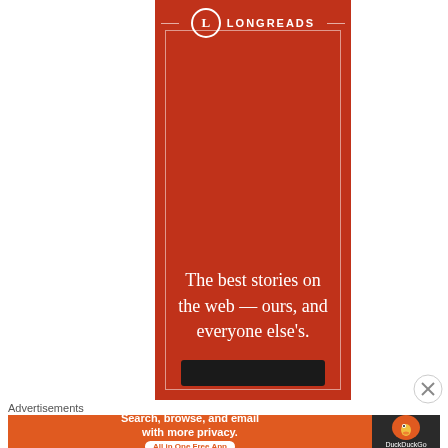[Figure (illustration): Longreads advertisement banner. Red background with white Longreads logo (circle with L) at top center flanked by horizontal lines, an inner white border rectangle, and large white serif text reading 'The best stories on the web — ours, and everyone else's.' A dark button appears at the bottom.]
Advertisements
[Figure (illustration): DuckDuckGo advertisement banner. Orange left section with text 'Search, browse, and email with more privacy.' and a white pill button reading 'All in One Free App'. Dark right section with DuckDuckGo duck logo in an orange circle and 'DuckDuckGo' text.]